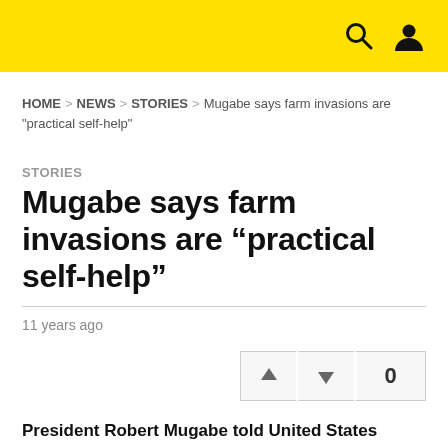Navigation bar with search and user icons
HOME > NEWS > STORIES > Mugabe says farm invasions are "practical self-help"
STORIES
Mugabe says farm invasions are “practical self-help”
11 years ago
0
President Robert Mugabe told United States embassy